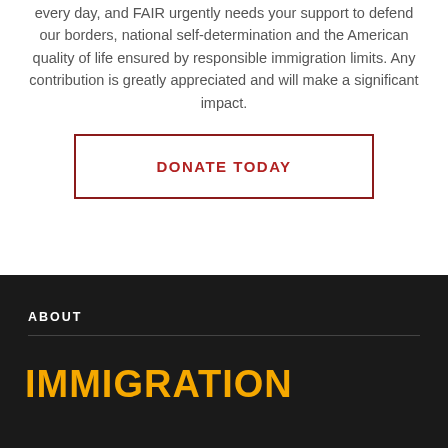every day, and FAIR urgently needs your support to defend our borders, national self-determination and the American quality of life ensured by responsible immigration limits. Any contribution is greatly appreciated and will make a significant impact.
DONATE TODAY
ABOUT
IMMIGRATION